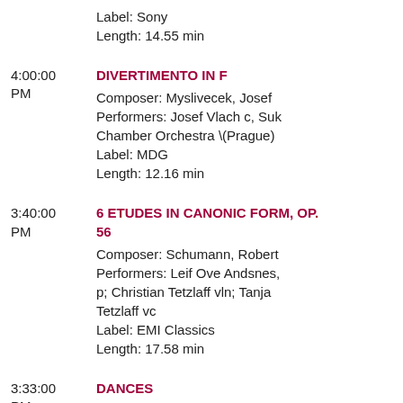Label: Sony
Length: 14.55 min
4:00:00 PM — DIVERTIMENTO IN F
Composer: Myslivecek, Josef
Performers: Josef Vlach c, Suk Chamber Orchestra \(Prague)
Label: MDG
Length: 12.16 min
3:40:00 PM — 6 ETUDES IN CANONIC FORM, OP. 56
Composer: Schumann, Robert
Performers: Leif Ove Andsnes, p; Christian Tetzlaff vln; Tanja Tetzlaff vc
Label: EMI Classics
Length: 17.58 min
3:33:00 PM — DANCES
Composer: Anon French
Performers: Piffaro
Label: Archiv
Length: 5.57 min